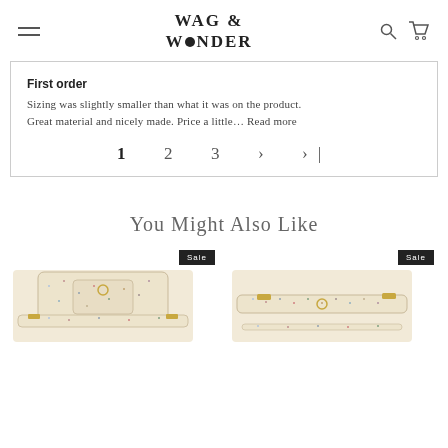WAG & WONDER
First order
Sizing was slightly smaller than what it was on the product. Great material and nicely made. Price a little… Read more
1  2  3  ›  ›|
You Might Also Like
[Figure (photo): Dog harness product photo with colorful pattern, Sale badge]
[Figure (photo): Dog collar product photo with colorful pattern, Sale badge]